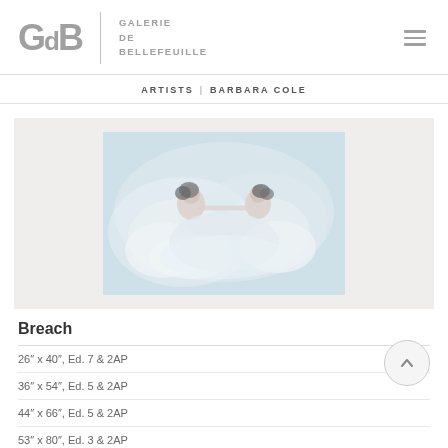GdB | GALERIE DE BELLEFEUILLE
ARTISTS | BARBARA COLE
[Figure (photo): Underwater photograph of two figures in flowing white dresses reaching toward each other, by Barbara Cole. Soft blue-white tones, ethereal and dreamlike.]
Breach
26″ x 40″, Ed. 7 & 2AP
36″ x 54″, Ed. 5 & 2AP
44″ x 66″, Ed. 5 & 2AP
53″ x 80″, Ed. 3 & 2AP